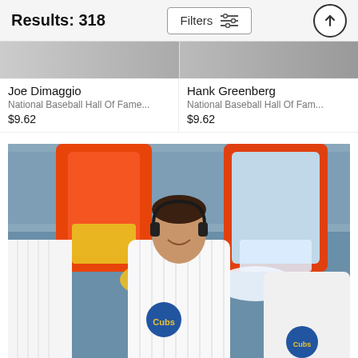Results: 318
Filters
Joe Dimaggio
National Baseball Hall Of Fame...
$9.62
Hank Greenberg
National Baseball Hall Of Fam...
$9.62
[Figure (photo): Chicago Cubs baseball player smiling while teammates pour Gatorade and water from large orange coolers over his head during a celebration. The player is wearing a white Cubs pinstripe uniform and headphones.]